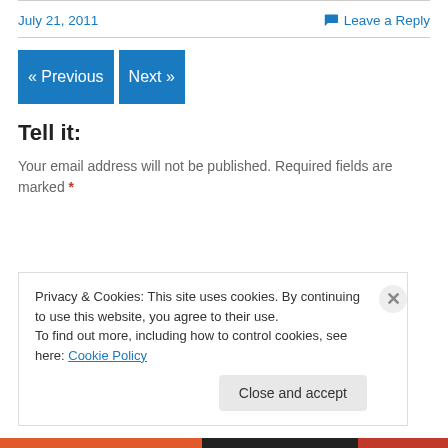July 21, 2011
Leave a Reply
« Previous
Next »
Tell it:
Your email address will not be published. Required fields are marked *
Privacy & Cookies: This site uses cookies. By continuing to use this website, you agree to their use.
To find out more, including how to control cookies, see here: Cookie Policy
Close and accept